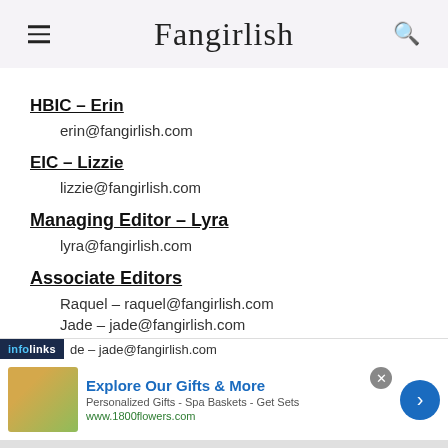Fangirlish
HBIC – Erin
erin@fangirlish.com
EIC – Lizzie
lizzie@fangirlish.com
Managing Editor – Lyra
lyra@fangirlish.com
Associate Editors
Raquel – raquel@fangirlish.com
Jade – jade@fangirlish.com
[Figure (infographic): Advertisement banner from infolinks for 1800flowers.com: Explore Our Gifts & More. Personalized Gifts - Spa Baskets - Get Sets. www.1800flowers.com]